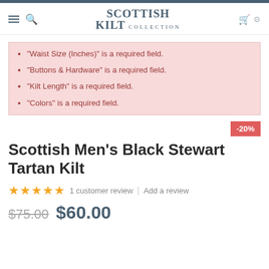SCOTTISH KILT COLLECTION
"Waist Size (Inches)" is a required field.
"Buttons & Hardware" is a required field.
"Kilt Length" is a required field.
"Colors" is a required field.
-20%
Scottish Men's Black Stewart Tartan Kilt
★★★★★  1 customer review  |  Add a review
$75.00  $60.00